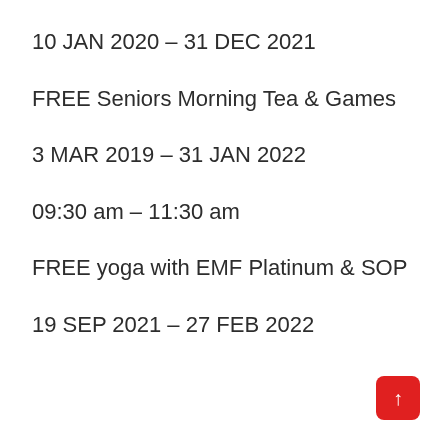10 JAN 2020 – 31 DEC 2021
FREE Seniors Morning Tea & Games
3 MAR 2019 – 31 JAN 2022
09:30 am – 11:30 am
FREE yoga with EMF Platinum & SOP
19 SEP 2021 – 27 FEB 2022